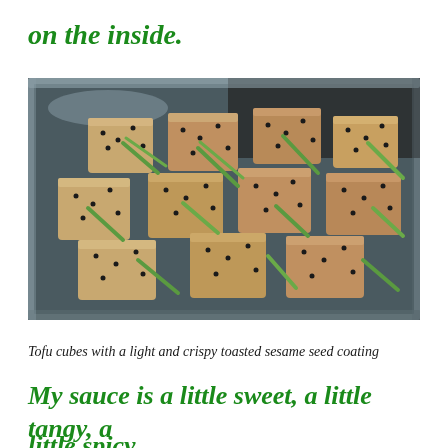on the inside.
[Figure (photo): Tofu cubes with sesame seed coating and green onions in a metal baking dish]
Tofu cubes with a light and crispy toasted sesame seed coating
My sauce is a little sweet, a little tangy, a little spicy